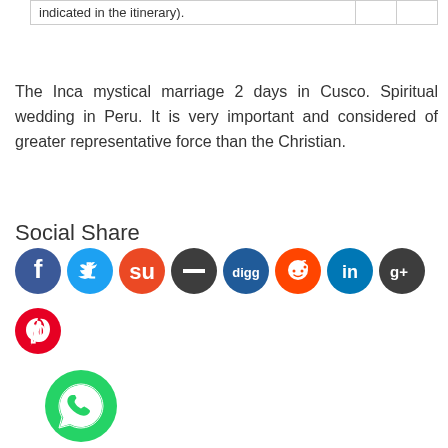| indicated in the itinerary). |  |  |
The Inca mystical marriage 2 days in Cusco. Spiritual wedding in Peru. It is very important and considered of greater representative force than the Christian.
Social Share
[Figure (infographic): Social share icons row: Facebook (blue), Twitter (light blue), StumbleUpon (orange), minus/dash (dark gray), Digg (dark blue), Reddit (red), LinkedIn (blue), Google+ (dark gray). Below: Pinterest (red). Below that: WhatsApp (green).]